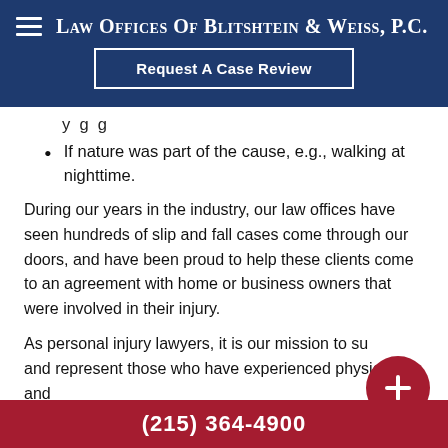Law Offices Of Blitshtein & Weiss, P.C.
Request A Case Review
y g g
If nature was part of the cause, e.g., walking at nighttime.
During our years in the industry, our law offices have seen hundreds of slip and fall cases come through our doors, and have been proud to help these clients come to an agreement with home or business owners that were involved in their injury.
As personal injury lawyers, it is our mission to su and represent those who have experienced physical and
(215) 364-4900